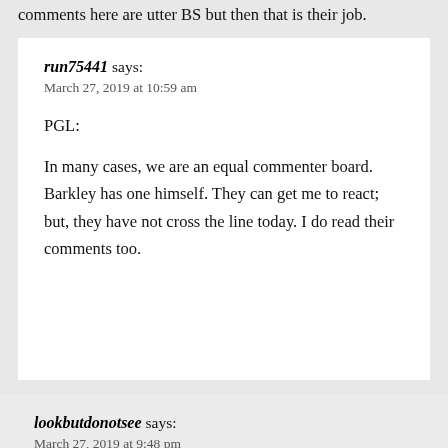comments here are utter BS but then that is their job.
run75441 says:
March 27, 2019 at 10:59 am

PGL:

In many cases, we are an equal commenter board. Barkley has one himself. They can get me to react; but, they have not cross the line today. I do read their comments too.
lookbutdonotsee says:
March 27, 2019 at 9:48 pm

Honestly people say the darndest things when they